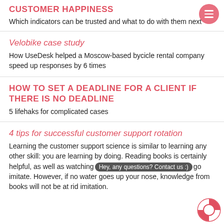CUSTOMER HAPPINESS
Which indicators can be trusted and what to do with them next
Velobike case study
How UseDesk helped a Moscow-based bycicle rental company speed up responses by 6 times
HOW TO SET A DEADLINE FOR A CLIENT IF THERE IS NO DEADLINE
5 lifehaks for complicated cases
4 tips for successful customer support rotation
Learning the customer support science is similar to learning any other skill: you are learning by doing. Reading books is certainly helpful, as well as watching go imitate. However, if no water goes up your nose, knowledge from books will not be as useful as swimming.